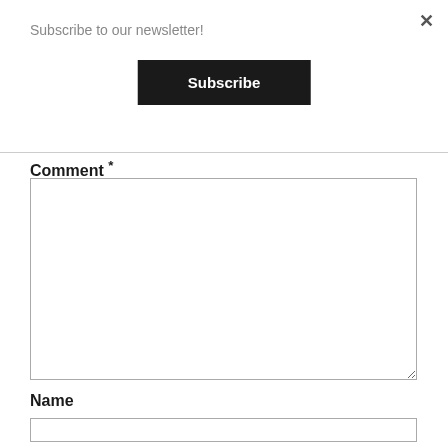Subscribe to our newsletter!
Subscribe
Comment *
Name